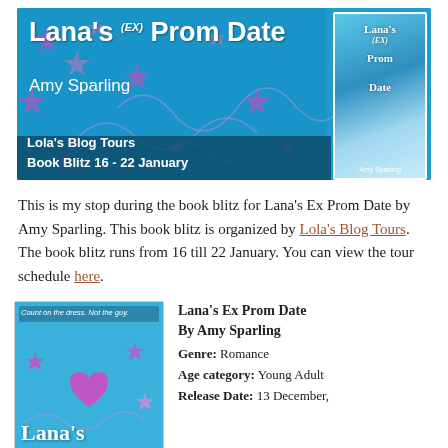[Figure (illustration): Book blitz banner for Lana's Ex Prom Date by Amy Sparling, showing teal/blue background with pink stars, scribbles, and book cover image on right. Text: Lana's (EX) Prom Date, Amy Sparling, Lola's Blog Tours, Book Blitz 16 - 22 January]
This is my stop during the book blitz for Lana's Ex Prom Date by Amy Sparling. This book blitz is organized by Lola's Blog Tours. The book blitz runs from 16 till 22 January. You can view the tour schedule here.
[Figure (illustration): Book cover for Lana's Ex Prom Date showing blue background with pink stars, hearts, scribbles, tagline 'Count on the dress. Not the guy.' and title 'Lana's (EX)' with a girl figure]
Lana's Ex Prom Date
By Amy Sparling
Genre: Romance
Age category: Young Adult
Release Date: 13 December,